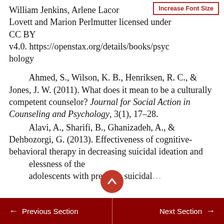William Jenkins, Arlene Lacour, Lovett and Marion Perlmutter licensed under CC BY v4.0. https://openstax.org/details/books/psychology
Ahmed, S., Wilson, K. B., Henriksen, R. C., & Jones, J. W. (2011). What does it mean to be a culturally competent counselor? Journal for Social Action in Counseling and Psychology, 3(1), 17–28.
Alavi, A., Sharifi, B., Ghanizadeh, A., & Dehbozorgi, G. (2013). Effectiveness of cognitive-behavioral therapy in decreasing suicidal ideation and hopelessness of the adolescents with previous suicidal...
← Previous Section    Next Section →